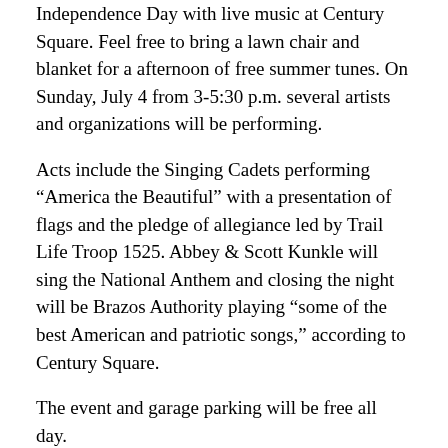Independence Day with live music at Century Square. Feel free to bring a lawn chair and blanket for a afternoon of free summer tunes. On Sunday, July 4 from 3-5:30 p.m. several artists and organizations will be performing.
Acts include the Singing Cadets performing “America the Beautiful” with a presentation of flags and the pledge of allegiance led by Trail Life Troop 1525. Abbey & Scott Kunkle will sing the National Anthem and closing the night will be Brazos Authority playing “some of the best American and patriotic songs,” according to Century Square.
The event and garage parking will be free all day.
4th of July Fireworks at RELLIS
After a successful and socially distanced fireworks show last year, Texas A&M University is bringing back the drive-in style fireworks show at the RELLIS Campus. On July 4, parking areas will open at 6:30 p.m., with the 30 minute